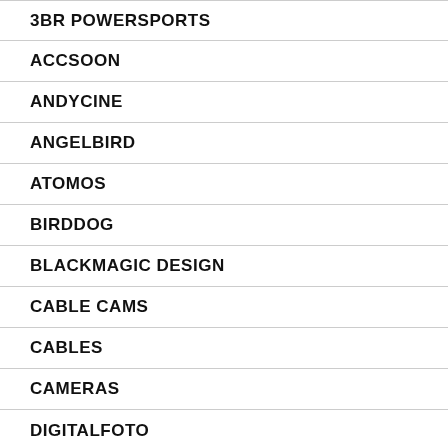3BR POWERSPORTS
ACCSOON
ANDYCINE
ANGELBIRD
ATOMOS
BIRDDOG
BLACKMAGIC DESIGN
CABLE CAMS
CABLES
CAMERAS
DIGITALFOTO